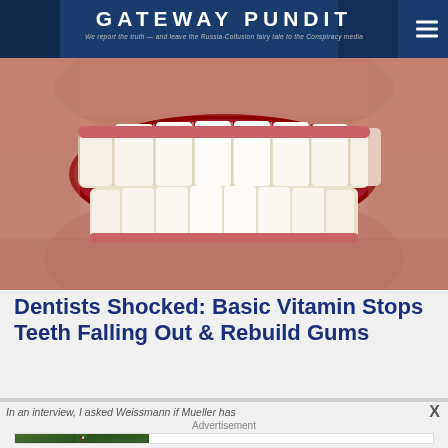GATEWAY PUNDIT — We report the truth — and leave the Russia-Collusion fairy tale to the Conspiracy media
[Figure (photo): Close-up photo of a person's open mouth showing teeth and gums, lips visible]
Dentists Shocked: Basic Vitamin Stops Teeth Falling Out & Rebuild Gums
In an interview, I asked Weissmann if Mueller has
Advertisement
[Figure (photo): Advertisement thumbnail showing a person with an albino monkey/animal outdoors in grass]
20+ Albino Animals That Are Very Rare And Unique
Brainberries